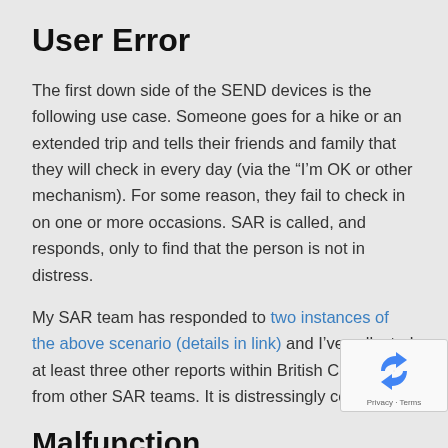User Error
The first down side of the SEND devices is the following use case. Someone goes for a hike or an extended trip and tells their friends and family that they will check in every day (via the “I’m OK or other mechanism). For some reason, they fail to check in on one or more occasions. SAR is called, and responds, only to find that the person is not in distress.
My SAR team has responded to two instances of the above scenario (details in link) and I’ve collected at least three other reports within British Columbia from other SAR teams. It is distressingly common!
[Figure (other): reCAPTCHA privacy badge with rotating arrows icon and Privacy - Terms text]
Malfunction